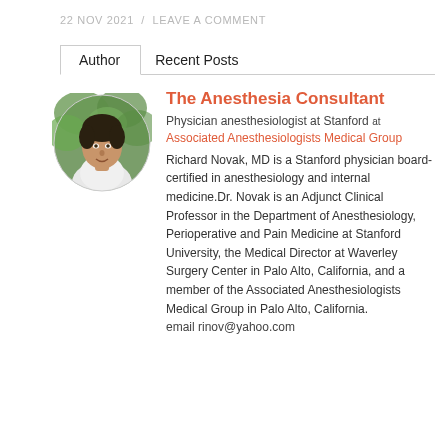22 NOV 2021 / LEAVE A COMMENT
Author | Recent Posts
[Figure (photo): Circular portrait photo of Richard Novak, MD, a middle-aged man in a white coat, outdoors with green foliage background]
The Anesthesia Consultant
Physician anesthesiologist at Stanford at Associated Anesthesiologists Medical Group
Richard Novak, MD is a Stanford physician board-certified in anesthesiology and internal medicine.Dr. Novak is an Adjunct Clinical Professor in the Department of Anesthesiology, Perioperative and Pain Medicine at Stanford University, the Medical Director at Waverley Surgery Center in Palo Alto, California, and a member of the Associated Anesthesiologists Medical Group in Palo Alto, California. email rinov@yahoo.com